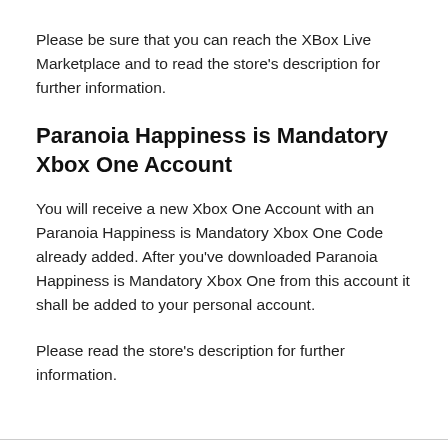Please be sure that you can reach the XBox Live Marketplace and to read the store's description for further information.
Paranoia Happiness is Mandatory Xbox One Account
You will receive a new Xbox One Account with an Paranoia Happiness is Mandatory Xbox One Code already added. After you've downloaded Paranoia Happiness is Mandatory Xbox One from this account it shall be added to your personal account.
Please read the store's description for further information.